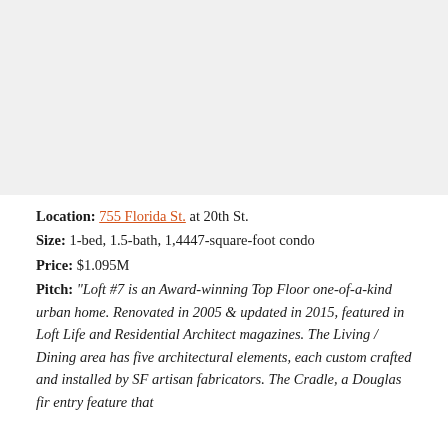[Figure (photo): Photograph of a loft interior or exterior (image area, content not visible in this crop)]
Location: 755 Florida St. at 20th St.
Size: 1-bed, 1.5-bath, 1,4447-square-foot condo
Price: $1.095M
Pitch: "Loft #7 is an Award-winning Top Floor one-of-a-kind urban home. Renovated in 2005 & updated in 2015, featured in Loft Life and Residential Architect magazines. The Living / Dining area has five architectural elements, each custom crafted and installed by SF artisan fabricators. The Cradle, a Douglas fir entry feature that